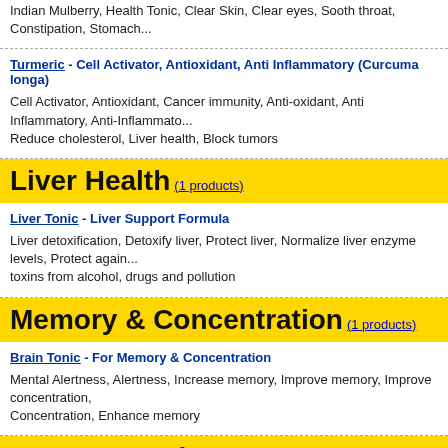Indian Mulberry, Health Tonic, Clear Skin, Clear eyes, Sooth throat, Constipation, Stomach...
Turmeric - Cell Activator, Antioxidant, Anti Inflammatory (Curcuma longa)
Cell Activator, Antioxidant, Cancer immunity, Anti-oxidant, Anti Inflammatory, Anti-Inflammato... Reduce cholesterol, Liver health, Block tumors
Liver Health (1 products)
Liver Tonic - Liver Support Formula
Liver detoxification, Detoxify liver, Protect liver, Normalize liver enzyme levels, Protect again... toxins from alcohol, drugs and pollution
Memory & Concentration (1 products)
Brain Tonic - For Memory & Concentration
Mental Alertness, Alertness, Increase memory, Improve memory, Improve concentration, Concentration, Enhance memory
Men's Sexual Potency (4 products)
Ashwagandha - Indian Ginseng (Withania Somnifera)
Indian Ginseng, Brain health, Sexual Potency, Rejuvenating, Antioxidant, Immune system, A... Stress
Shilajit - Anti Aging And Rejuvenator
Anti Aging, Anti-Aging, Rejuvenate mind and body, healthy immune system, increase vitalit...